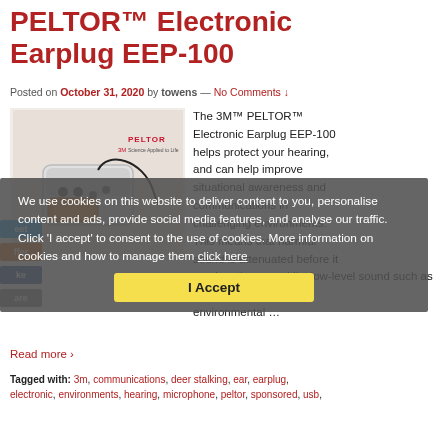PELTOR™ Electronic Earplug EEP-100
Posted on October 31, 2020 by towens — No Comments ↓
[Figure (photo): 3M PELTOR Electronic Earplug EEP-100 product kit with case, ear tips, and cable, with PELTOR and 3M logos]
The 3M™ PELTOR™ Electronic Earplug EEP-100 helps protect your hearing, and can help improve situational awareness and communications in challenging environments. This means that harmful sound is attenuated before it reaches the ear, whilst low-level sound such as speech or environmental …
We use cookies on this website to deliver content to you, personalise content and ads, provide social media features, and analyse our traffic. Click 'I accept' to consent to the use of cookies. More information on cookies and how to manage them click here
Read more ›
Tagged with: 3m, communications, deer stalking, ear, earplug, electronic, environments, hearing, microphone, peltor, sponsored, usb,